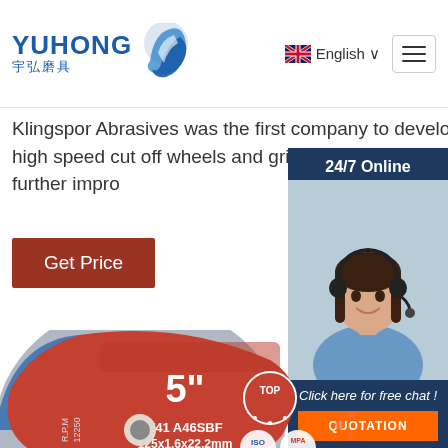YUHONG 宇弘磨具 | English
Klingspor Abrasives was the first company to develop premium high speed cut off wheels and grind Since then, they have further impro
Get Price
[Figure (photo): Customer service representative with headset, 24/7 Online chat panel with QUOTATION button]
[Figure (photo): 5 inch cutting wheel disc labeled T41 A46SBF 125x1.6x22.2mm R.P.M 12250, with ISO 9001 and MPA TESTED certification logos]